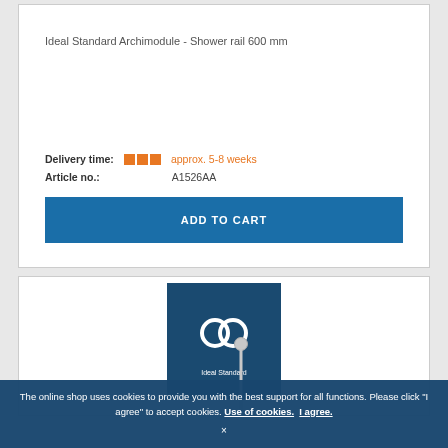Ideal Standard Archimodule - Shower rail 600 mm
Delivery time: approx. 5-8 weeks
Article no.: A1526AA
ADD TO CART
[Figure (logo): Ideal Standard logo on dark blue background with interlocking rings icon]
[Figure (photo): Shower rail product image - vertical chrome rail with top fitting]
The online shop uses cookies to provide you with the best support for all functions. Please click "I agree" to accept cookies. Use of cookies. I agree. ×